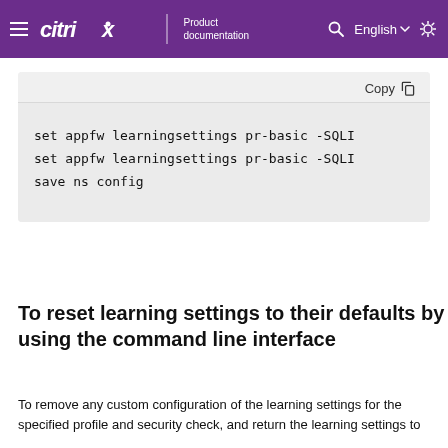Citrix Product documentation | English
Copy
set appfw learningsettings pr-basic -SQLI
set appfw learningsettings pr-basic -SQLI
save ns config
To reset learning settings to their defaults by using the command line interface
To remove any custom configuration of the learning settings for the specified profile and security check, and return the learning settings to